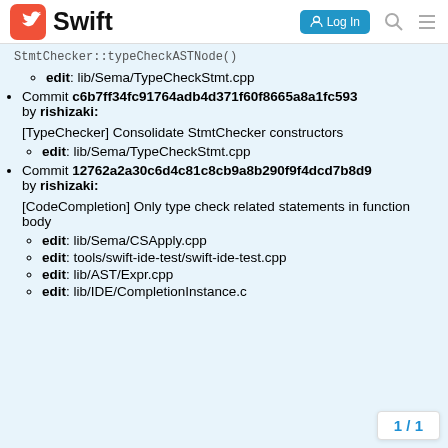Swift
StmtChecker::typeCheckASTNode()
edit: lib/Sema/TypeCheckStmt.cpp
Commit c6b7ff34fc91764adb4d371f60f8665a8a1fc593 by rishizaki:
[TypeChecker] Consolidate StmtChecker constructors
edit: lib/Sema/TypeCheckStmt.cpp
Commit 12762a2a30c6d4c81c8cb9a8b290f9f4dcd7b8d9 by rishizaki:
[CodeCompletion] Only type check related statements in function body
edit: lib/Sema/CSApply.cpp
edit: tools/swift-ide-test/swift-ide-test.cpp
edit: lib/AST/Expr.cpp
edit: lib/IDE/CompletionInstance.c
1 / 1